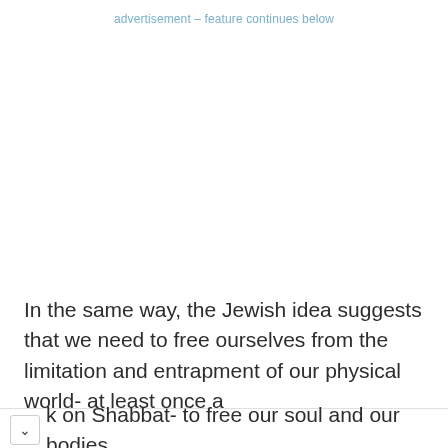advertisement – feature continues below
In the same way, the Jewish idea suggests that we need to free ourselves from the limitation and entrapment of our physical world- at least once a k on Shabbat- to free our soul and our bodies